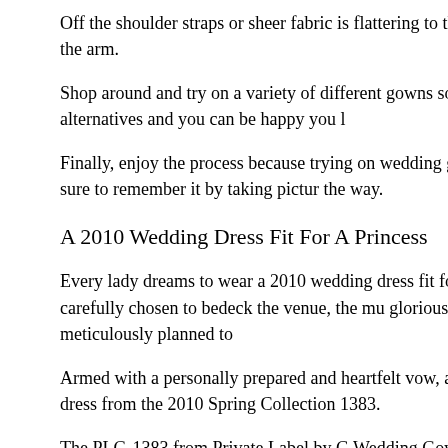Off the shoulder straps or sheer fabric is flattering to the arms. Thr shape and work to elongate the arm.
Shop around and try on a variety of different gowns so you will be considered many different alternatives and you can be happy you l
Finally, enjoy the process because trying on wedding gowns can b day. Savor the journey and be sure to remember it by taking pictur the way.
A 2010 Wedding Dress Fit For A Princess
Every lady dreams to wear a 2010 wedding dress fit for a princess he flowers have been carefully chosen to bedeck the venue, the mu glorious occasion, and the event has been meticulously planned to
Armed with a personally prepared and heartfelt vow, a true lady de bouffant princess wedding dress from the 2010 Spring Collection 1383.
The PLG-1383 from Private Label by G Wedding Gown is crafted crispness to the fabric body. The figure-hugging bodice has a slee sweetheart neckline, accented with beautiful embroidery. Gleamin detail to add a subtle sparkle, which draws the attention to the face
Its A-line Princess cut, combined with the figure-hugging bodice